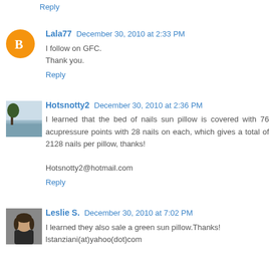Reply
Lala77  December 30, 2010 at 2:33 PM
I follow on GFC.
Thank you.
Reply
Hotsnotty2  December 30, 2010 at 2:36 PM
I learned that the bed of nails sun pillow is covered with 76 acupressure points with 28 nails on each, which gives a total of 2128 nails per pillow, thanks!
Hotsnotty2@hotmail.com
Reply
Leslie S.  December 30, 2010 at 7:02 PM
I learned they also sale a green sun pillow.Thanks!
lstanziani(at)yahoo(dot)com